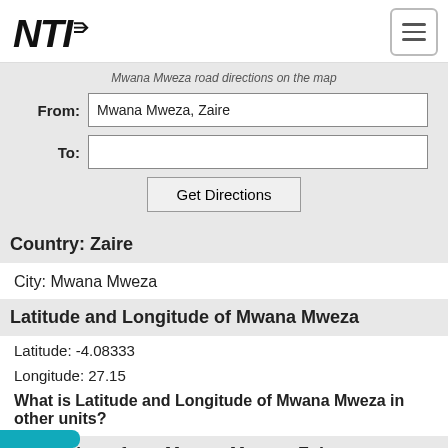NTI logo and navigation menu
Mwana Mweza road directions on the map
From: Mwana Mweza, Zaire
To:
Get Directions
Country: Zaire
City: Mwana Mweza
Latitude and Longitude of Mwana Mweza
Latitude: -4.08333
Longitude: 27.15
What is Latitude and Longitude of Mwana Mweza in other units?
Latest News from Mwana Mweza, Zaire
Ads